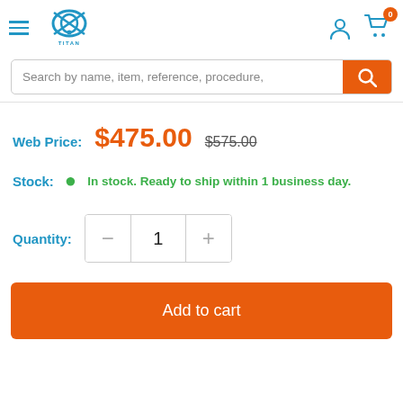[Figure (logo): Titan Medical logo with blue fish/eye symbol and company name]
Search by name, item, reference, procedure,
Web Price: $475.00  $575.00
Stock:  • In stock. Ready to ship within 1 business day.
Quantity: 1
Add to cart